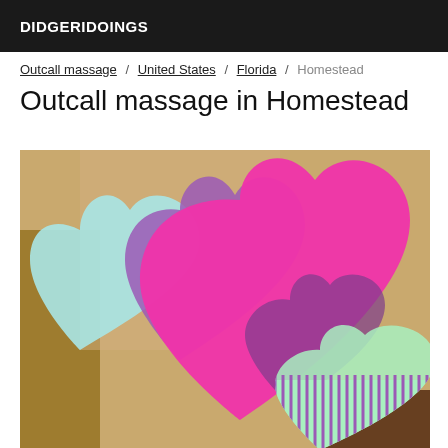DIDGERIDOINGS
Outcall massage / United States / Florida / Homestead
Outcall massage in Homestead
[Figure (photo): Photo partially obscured by overlapping colorful heart shapes in magenta/pink, purple, light blue, and mint green, with a striped pattern on a mint heart. Background shows a warm beige/tan scene with dark elements.]